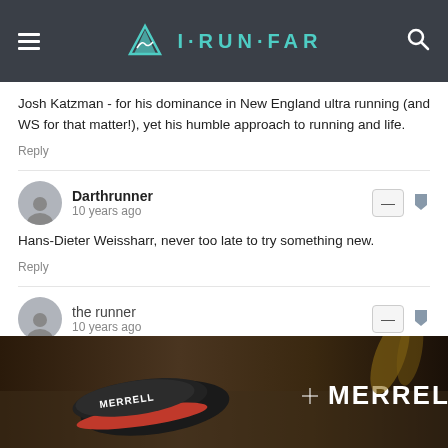I·RUN·FAR
Josh Katzman - for his dominance in New England ultra running (and WS for that matter!), yet his humble approach to running and life.
Reply
Darthrunner
10 years ago
Hans-Dieter Weissharr, never too late to try something new.
Reply
the runner
10 years ago
Awesome post!
The list really never ends. The commonality of all the
[Figure (photo): Merrell shoe advertisement banner showing a trail runner's feet wearing red and black Merrell shoes with the Merrell brand name in white text on a dark background]